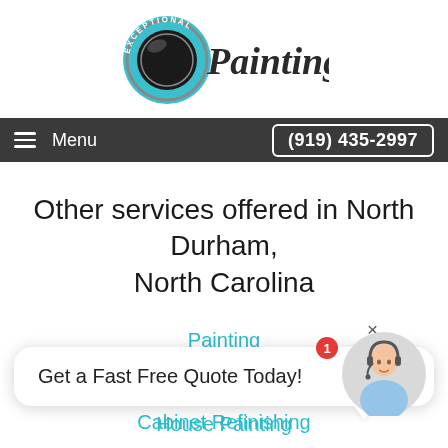[Figure (logo): Exceptional Painting logo: teal/aqua circular stamp icon with 'EXCEPTIONAL' text on rim, combined with stylized 'Painting' text in dark italic font]
Menu  (919) 435-2997
Other services offered in North Durham, North Carolina
Painting
Cabinet Painting
Cabinet Refinishing
Get a Fast Free Quote Today!
House Painting